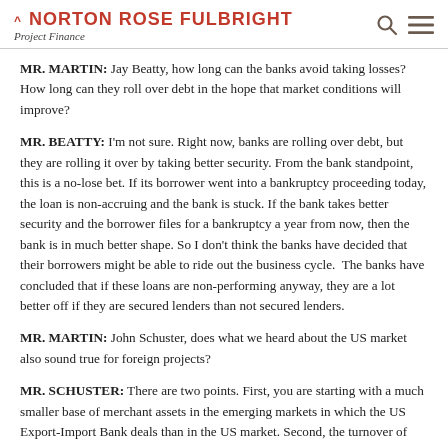NORTON ROSE FULBRIGHT — Project Finance
MR. MARTIN: Jay Beatty, how long can the banks avoid taking losses? How long can they roll over debt in the hope that market conditions will improve?
MR. BEATTY: I'm not sure. Right now, banks are rolling over debt, but they are rolling it over by taking better security. From the bank standpoint, this is a no-lose bet. If its borrower went into a bankruptcy proceeding today, the loan is non-accruing and the bank is stuck. If the bank takes better security and the borrower files for a bankruptcy a year from now, then the bank is in much better shape. So I don't think the banks have decided that their borrowers might be able to ride out the business cycle. The banks have concluded that if these loans are non-performing anyway, they are a lot better off if they are secured lenders than not secured lenders.
MR. MARTIN: John Schuster, does what we heard about the US market also sound true for foreign projects?
MR. SCHUSTER: There are two points. First, you are starting with a much smaller base of merchant assets in the emerging markets in which the US Export-Import Bank deals than in the US market. Second, the turnover of assets in these markets is likely to be even slower than in the US.